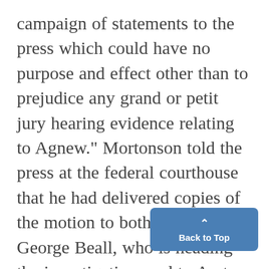campaign of statements to the press which could have no purpose and effect other than to prejudice any grand or petit jury hearing evidence relating to Agnew." Mortonson told the press at the federal courthouse that he had delivered copies of the motion to both U.S. Atty. George Beall, who is heading the investigation, and to Asst. Atty. Gen. Henry Petersen after discussing the matter with Beall yesterday morning. He would not elaborate on the dis